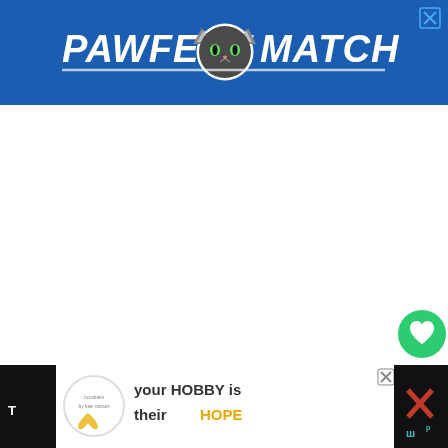[Figure (illustration): Advertisement banner with blue background showing 'PAWFECT MATCH' text in white bold italic font with a cat icon in the center. A close (X) button is in the top-right corner.]
[Figure (illustration): White empty content area below the top ad banner.]
[Figure (illustration): Green circular heart/favorite button and a white circular share button on the right side, with a small 'w' logo below.]
[Figure (illustration): Bottom banner advertisement on dark background showing 'cookies by kae cancer' logo circle on left and 'your HOBBY is their HOPE' text in center, with an X close button, and a dark right panel with red X and teal w logo.]